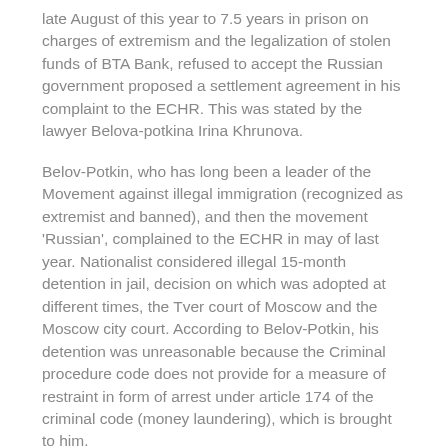late August of this year to 7.5 years in prison on charges of extremism and the legalization of stolen funds of BTA Bank, refused to accept the Russian government proposed a settlement agreement in his complaint to the ECHR. This was stated by the lawyer Belova-potkina Irina Khrunova.
Belov-Potkin, who has long been a leader of the Movement against illegal immigration (recognized as extremist and banned), and then the movement 'Russian', complained to the ECHR in may of last year. Nationalist considered illegal 15-month detention in jail, decision on which was adopted at different times, the Tver court of Moscow and the Moscow city court. According to Belov-Potkin, his detention was unreasonable because the Criminal procedure code does not provide for a measure of restraint in form of arrest under article 174 of the criminal code (money laundering), which is brought to him.
The offer of settlement contained in the Declaration, (have)